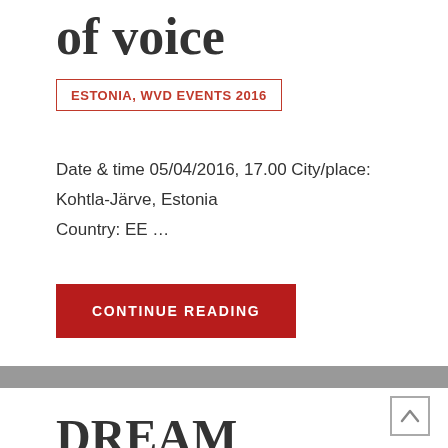of voice
ESTONIA, WVD EVENTS 2016
Date & time 05/04/2016, 17.00 City/place: Kohtla-Järve, Estonia
Country: EE …
CONTINUE READING
DREAM STREAM / UNEJÕGI EPCC concert series Vitrages The concert belongs to the program of